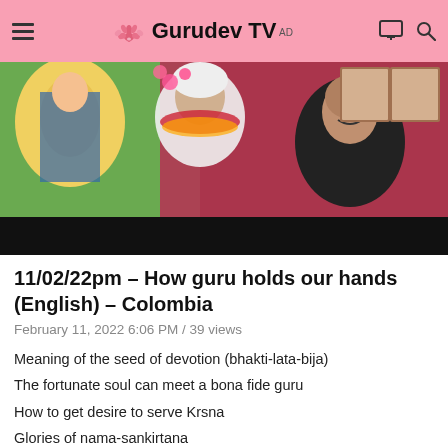Gurudev TV
[Figure (photo): Photo of a spiritual teacher wearing white clothes and flower garlands seated near Hindu deity images and portraits, with another person visible on the right side smiling.]
11/02/22pm – How guru holds our hands (English) – Colombia
February 11, 2022 6:06 PM / 39 views
Meaning of the seed of devotion (bhakti-lata-bija)
The fortunate soul can meet a bona fide guru
How to get desire to serve Krsna
Glories of nama-sankirtana
Definition of the 4 yugas.
We should always hear at the place are vision in...